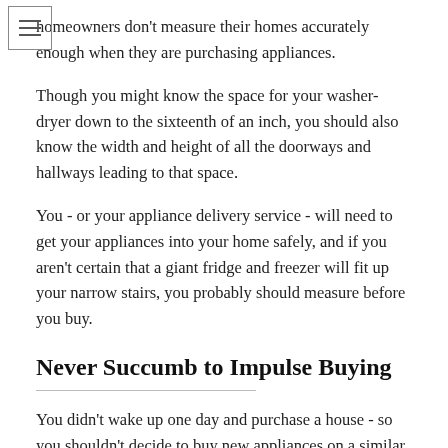homeowners don't measure their homes accurately enough when they are purchasing appliances.
Though you might know the space for your washer-dryer down to the sixteenth of an inch, you should also know the width and height of all the doorways and hallways leading to that space.
You - or your appliance delivery service - will need to get your appliances into your home safely, and if you aren't certain that a giant fridge and freezer will fit up your narrow stairs, you probably should measure before you buy.
Never Succumb to Impulse Buying
You didn't wake up one day and purchase a house - so you shouldn't decide to buy new appliances on a similar unjustifiable impulse. Impulse purchases hurt you in myriad ways; by buying without researching, you risk acquiring lower-